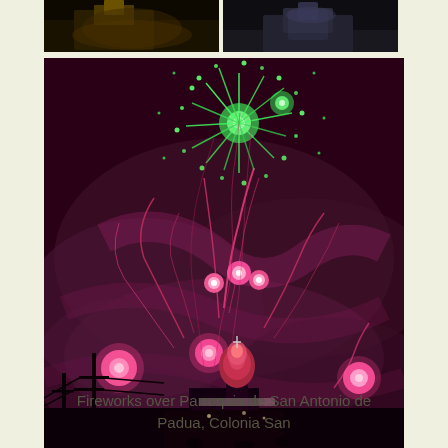[Figure (photo): Top-left partial photo: nighttime scene, partially visible]
[Figure (photo): Top-right partial photo: nighttime scene with building, partially visible]
[Figure (photo): Main large photo: Fireworks display over Parroquia de San Antonio de Padua at night. Green burst at top, pink/magenta streaks and glowing balls, smoke clouds, church dome visible at bottom, utility poles silhouetted in foreground.]
Fireworks over Parroquia de San Antonio de Padua, Colonia San Antonio de Padua